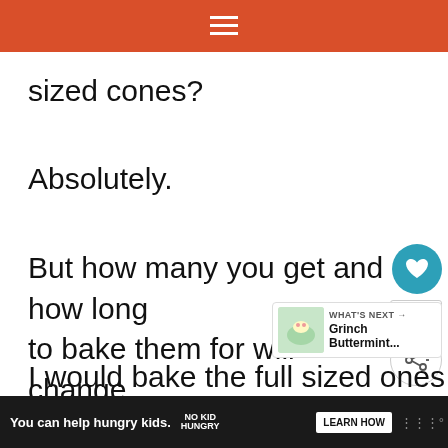≡
sized cones?
Absolutely.
But how many you get and how long to bake them for will change dramatically.
I would bake the full sized ones for
You can help hungry kids. NO KID HUNGRY LEARN HOW